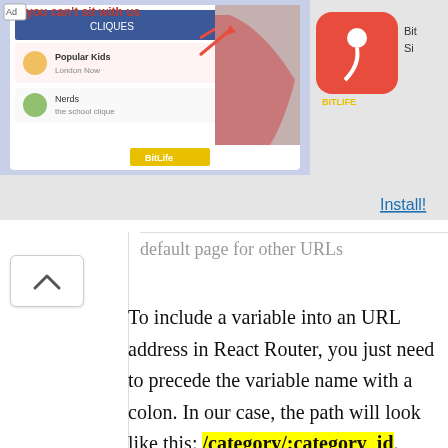[Figure (screenshot): Mobile advertisement banner for BitLife app showing 'you can't sit with us' theme with social media UI mockup and BitLife icon, with Install! link]
default page for other URLs
To include a variable into an URL address in React Router, you just need to precede the variable name with a colon. In our case, the path will look like this: /category/:category_id.
Note that. For functional components you can